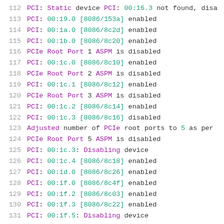112  PCI: Static device PCI: 00:16.3 not found, disa
113  PCI: 00:19.0 [8086/153a] enabled
114  PCI: 00:1a.0 [8086/8c2d] enabled
115  PCI: 00:1b.0 [8086/8c20] enabled
116  PCIe Root Port 1 ASPM is disabled
117  PCI: 00:1c.0 [8086/8c10] enabled
118  PCIe Root Port 2 ASPM is disabled
119  PCI: 00:1c.1 [8086/8c12] enabled
120  PCIe Root Port 3 ASPM is disabled
121  PCI: 00:1c.2 [8086/8c14] enabled
122  PCI: 00:1c.3 [8086/8c16] disabled
123  Adjusted number of PCIe root ports to 5 as per
124  PCIe Root Port 5 ASPM is disabled
125  PCI: 00:1c.3: Disabling device
126  PCI: 00:1c.4 [8086/8c18] enabled
127  PCI: 00:1d.0 [8086/8c26] enabled
128  PCI: 00:1f.0 [8086/8c4f] enabled
129  PCI: 00:1f.2 [8086/8c03] enabled
130  PCI: 00:1f.3 [8086/8c22] enabled
131  PCI: 00:1f.5: Disabling device
132  PCI: 00:1f.6: Disabling device